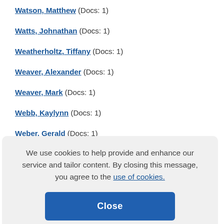Watson, Matthew (Docs: 1)
Watts, Johnathan (Docs: 1)
Weatherholtz, Tiffany (Docs: 1)
Weaver, Alexander (Docs: 1)
Weaver, Mark (Docs: 1)
Webb, Kaylynn (Docs: 1)
Weber, Gerald (Docs: 1)
We use cookies to help provide and enhance our service and tailor content. By closing this message, you agree to the use of cookies.
Weinrib, Laura (Docs: 1)